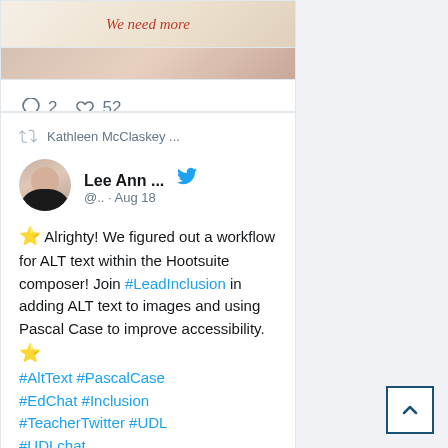[Figure (screenshot): Top of a Twitter/social media card showing IEPs text and a partial image, with reaction bar showing 2 comments and 52 likes]
2  52
[Figure (screenshot): Twitter card showing a retweet by Kathleen McClaskey with Lee Ann's tweet about ALT text workflow in Hootsuite composer, dated Aug 18, with hashtags #LeadInclusion #AltText #PascalCase #EdChat #Inclusion #TeacherTwitter #UDL #UDLchat]
Kathleen McClaskey ...
Lee Ann ...
@.. · Aug 18
⭐ Alrighty! We figured out a workflow for ALT text within the Hootsuite composer! Join #LeadInclusion in adding ALT text to images and using Pascal Case to improve accessibility. ⭐ #AltText #PascalCase #EdChat #Inclusion #TeacherTwitter #UDL #UDLchat
[Figure (photo): Partial bottom image of a social media post showing 'We need more...' text]